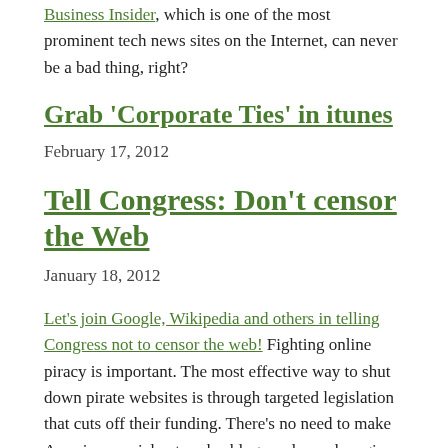Business Insider, which is one of the most prominent tech news sites on the Internet, can never be a bad thing, right?
Grab 'Corporate Ties' in itunes
February 17, 2012
Tell Congress: Don't censor the Web
January 18, 2012
Let's join Google, Wikipedia and others in telling Congress not to censor the web! Fighting online piracy is important. The most effective way to shut down pirate websites is through targeted legislation that cuts off their funding. There's no need to make American social networks, blogs and search engines